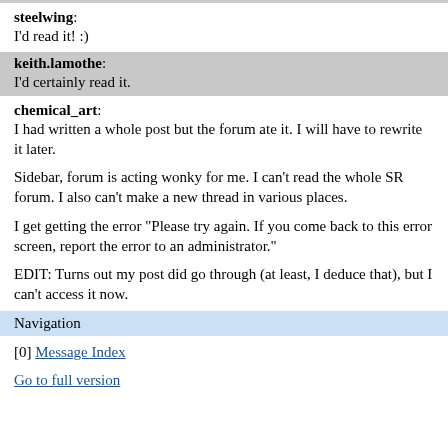steelwing:
I'd read it! :)
keith.lamothe:
I'd certainly read it.
chemical_art:
I had written a whole post but the forum ate it. I will have to rewrite it later.

Sidebar, forum is acting wonky for me. I can't read the whole SR forum. I also can't make a new thread in various places.

I get getting the error "Please try again. If you come back to this error screen, report the error to an administrator."

EDIT: Turns out my post did go through (at least, I deduce that), but I can't access it now.
Navigation
[0] Message Index
Go to full version